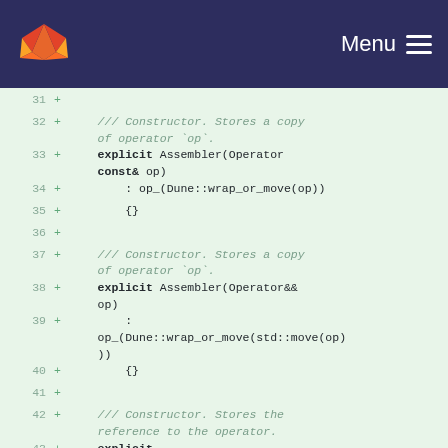Menu
Code diff view showing lines 31-43 of a C++ source file with constructor implementations for an Assembler class.